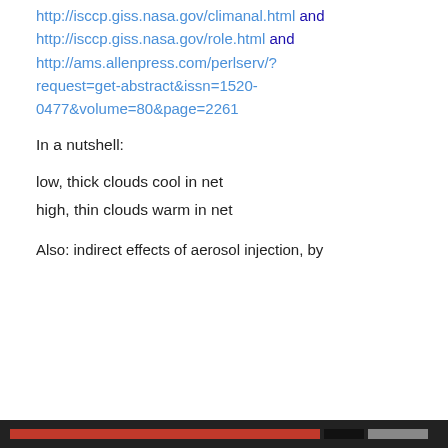http://isccp.giss.nasa.gov/climanal.html and http://isccp.giss.nasa.gov/role.html and http://ams.allenpress.com/perlserv/?request=get-abstract&issn=1520-0477&volume=80&page=2261
In a nutshell:
low, thick clouds cool in net
high, thin clouds warm in net
Also: indirect effects of aerosol injection, by
Privacy & Cookies: This site uses cookies. By continuing to use this website, you agree to their use. To find out more, including how to control cookies, see here: Cookie Policy